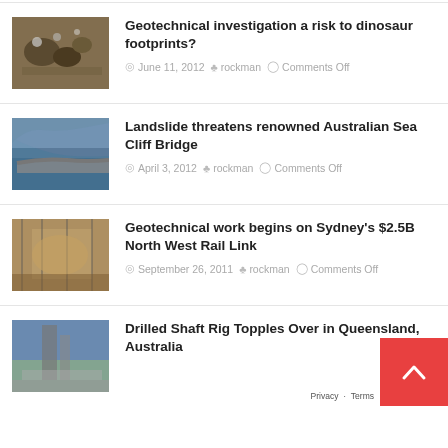[Figure (photo): Close-up photo of dinosaur footprints in rock/soil]
Geotechnical investigation a risk to dinosaur footprints?
June 11, 2012  rockman  Comments Off
[Figure (photo): Photo of Sea Cliff Bridge along Australian coastline with curved road]
Landslide threatens renowned Australian Sea Cliff Bridge
April 3, 2012  rockman  Comments Off
[Figure (photo): Interior photo of Sydney North West Rail Link construction]
Geotechnical work begins on Sydney's $2.5B North West Rail Link
September 26, 2011  rockman  Comments Off
[Figure (photo): Photo of drilled shaft rig construction site in Queensland, Australia]
Drilled Shaft Rig Topples Over in Queensland, Australia